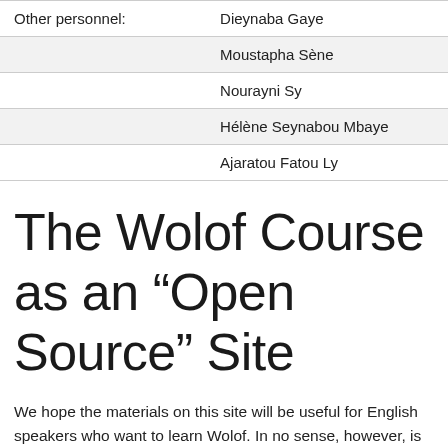|  |  |
| --- | --- |
| Other personnel: | Dieynaba Gaye |
|  | Moustapha Sène |
|  | Nourayni Sy |
|  | Hélène Seynabou Mbaye |
|  | Ajaratou Fatou Ly |
The Wolof Course as an “Open Source” Site
We hope the materials on this site will be useful for English speakers who want to learn Wolof. In no sense, however, is the course a finished piece of work. Not all the lessons are fully developed, not all the videos are fully transcribed and translated, and you can easily think of...